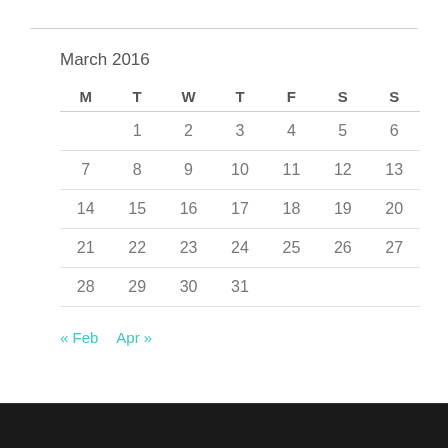March 2016
| M | T | W | T | F | S | S |
| --- | --- | --- | --- | --- | --- | --- |
|  | 1 | 2 | 3 | 4 | 5 | 6 |
| 7 | 8 | 9 | 10 | 11 | 12 | 13 |
| 14 | 15 | 16 | 17 | 18 | 19 | 20 |
| 21 | 22 | 23 | 24 | 25 | 26 | 27 |
| 28 | 29 | 30 | 31 |  |  |  |
« Feb  Apr »